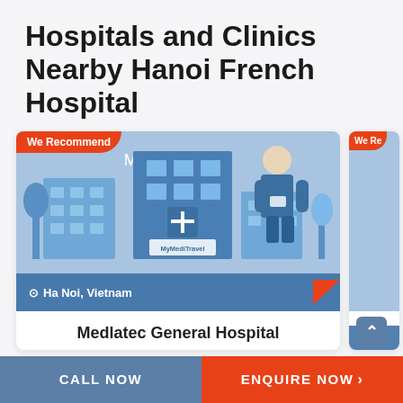Hospitals and Clinics Nearby Hanoi French Hospital
[Figure (illustration): MyMediTravel branded card showing a hospital illustration with a doctor figure, buildings, and 'Ha Noi, Vietnam' location bar. Badge says 'We Recommend'.]
Medlatec General Hospital
CALL NOW
ENQUIRE NOW >